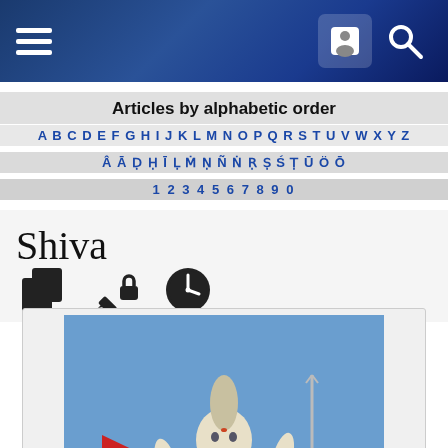Navigation bar with hamburger menu, account icon, and search icon
Articles by alphabetic order
A B C D E F G H I J K L M N O P Q R S T U V W X Y Z
Â Ā Ḍ Ḥ Ī Ḷ Ṁ Ṇ Ñ Ṅ Ṛ Ṣ Ś Ṭ Ū Ö Ō
1 2 3 4 5 6 7 8 9 0
Shiva
[Figure (photo): A statue depicting Shiva meditating (Bijapur)]
A statue depicting Shiva meditating (Bijapur